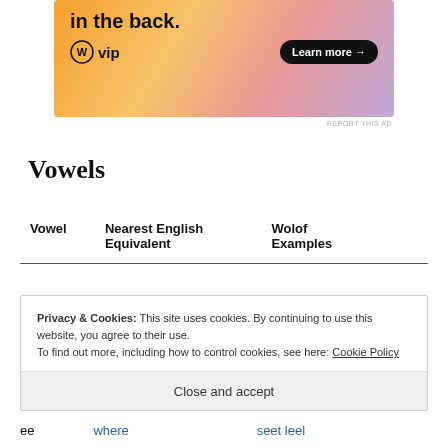[Figure (other): WordPress VIP advertisement banner with gradient orange-pink-purple background, text 'in the back.', WordPress VIP logo, and 'Learn more →' button]
REPORT THIS AD
Vowels
| Vowel | Nearest English Equivalent | Wolof Examples |
| --- | --- | --- |
| ee | where | seet  leel |
Privacy & Cookies: This site uses cookies. By continuing to use this website, you agree to their use.
To find out more, including how to control cookies, see here: Cookie Policy
Close and accept